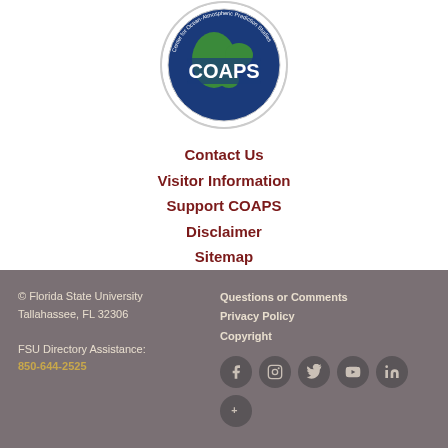[Figure (logo): COAPS (Center for Ocean-Atmospheric Prediction Studies) circular logo with globe graphic]
Contact Us
Visitor Information
Support COAPS
Disclaimer
Sitemap
© Florida State University
Tallahassee, FL 32306

FSU Directory Assistance:
850-644-2525

Questions or Comments
Privacy Policy
Copyright